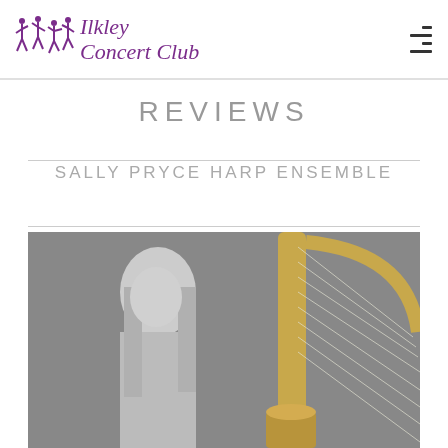Ilkley Concert Club
REVIEWS
SALLY PRYCE HARP ENSEMBLE
[Figure (photo): Black and white professional photo of a young woman with long straight hair, posed next to a decorative golden harp. The harp's ornate column and strings are visible to her right.]